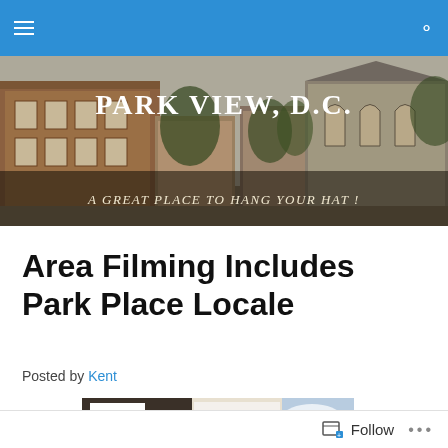Park View, D.C. — A Great Place to Hang Your Hat!
Area Filming Includes Park Place Locale
Posted by Kent
[Figure (photo): Street-level photo showing film production equipment and signage outside a building in the Park Place locale of Park View, D.C.]
Follow